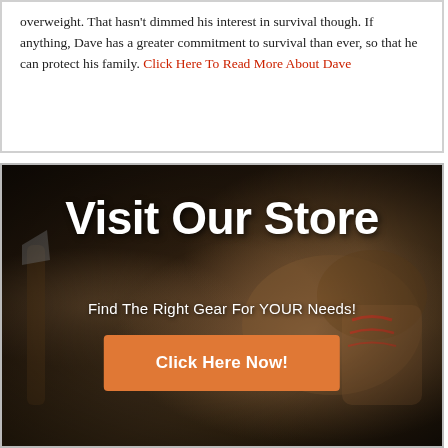overweight. That hasn't dimmed his interest in survival though. If anything, Dave has a greater commitment to survival than ever, so that he can protect his family. Click Here To Read More About Dave
[Figure (infographic): Dark-background banner with outdoor survival gear (boots, tools) photo. Contains large white text 'Visit Our Store', subtitle 'Find The Right Gear For YOUR Needs!', and an orange 'Click Here Now!' button.]